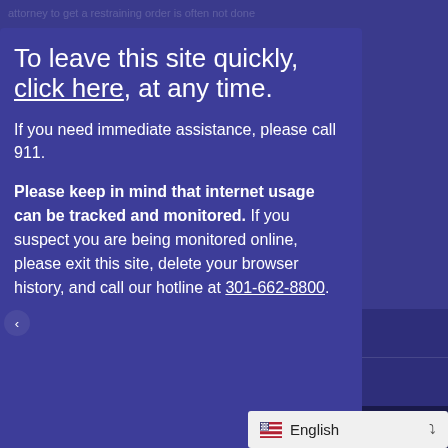To leave this site quickly, click here, at any time.
If you need immediate assistance, please call 911.
Please keep in mind that internet usage can be tracked and monitored. If you suspect you are being monitored online, please exit this site, delete your browser history, and call our hotline at 301-662-8800.
Call our 24-HR Hotline: 301-662-8800
Click here to contact us for more information.
English